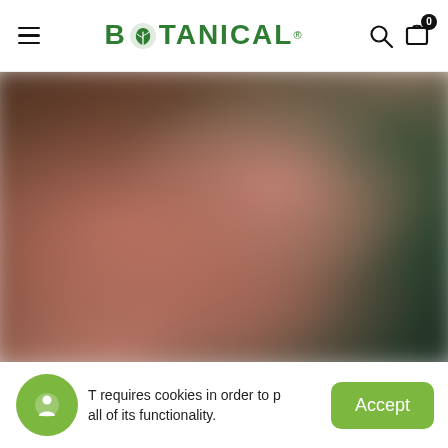BOTANICAL®
[Figure (photo): Blurred background hero image showing warm earthy tones with reddish-brown and dark green areas, likely a botanical/nature scene]
This website requires cookies in order to provide all of its functionality.